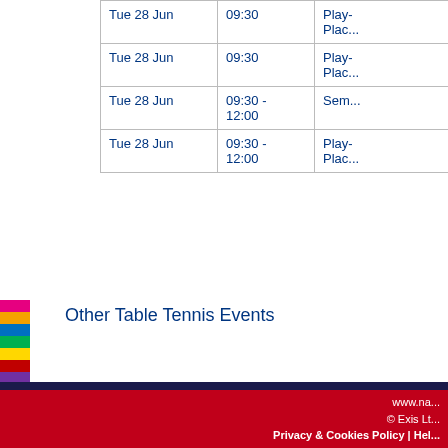| Date | Time | Round |
| --- | --- | --- |
| Tue 28 Jun | 09:30 | Play-
Plac... |
| Tue 28 Jun | 09:30 | Play-
Plac... |
| Tue 28 Jun | 09:30 -
12:00 | Sem... |
| Tue 28 Jun | 09:30 -
12:00 | Play-
Plac... |
Other Table Tennis Events
| Event | Results | E... |
| --- | --- | --- |
| Men's Singles | View | V... |
| Women's Singles | View | V... |
| Men's Doubles | View | V... |
| Women's Doubles | View | V... |
| Mixed Doubles | View | V... |
| Team Event | View | V... |
www.na... © Exis Lt... Privacy & Cookies Policy | Hel...